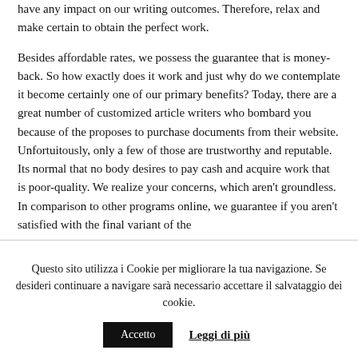have any impact on our writing outcomes. Therefore, relax and make certain to obtain the perfect work.
Besides affordable rates, we possess the guarantee that is money-back. So how exactly does it work and just why do we contemplate it become certainly one of our primary benefits? Today, there are a great number of customized article writers who bombard you because of the proposes to purchase documents from their website. Unfortuitously, only a few of those are trustworthy and reputable. Its normal that no body desires to pay cash and acquire work that is poor-quality. We realize your concerns, which aren't groundless. In comparison to other programs online, we guarantee if you aren't satisfied with the final variant of the
Questo sito utilizza i Cookie per migliorare la tua navigazione. Se desideri continuare a navigare sarà necessario accettare il salvataggio dei cookie.